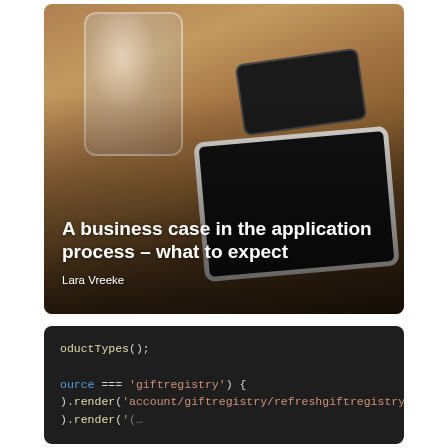[Figure (photo): Photo of a wooden table with a glass of water, a black smartphone, a white tablet, and a person's hand in the background. Overlaid with title text and author name.]
A business case in the application process – what to expect
Lara Vreeke
[Figure (screenshot): Screenshot of dark-themed code editor showing JavaScript code: oductTypes(); ource === 'giftregistry') { ).render('account/giftregistry/refreshgiftregistry');]